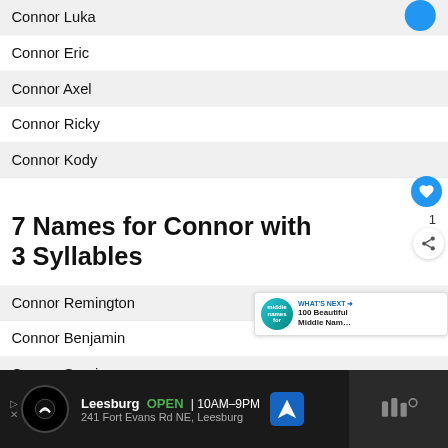Connor Luka
Connor Eric
Connor Axel
Connor Ricky
Connor Kody
7 Names for Connor with 3 Syllables
Connor Remington
Connor Benjamin
Connor Sergio